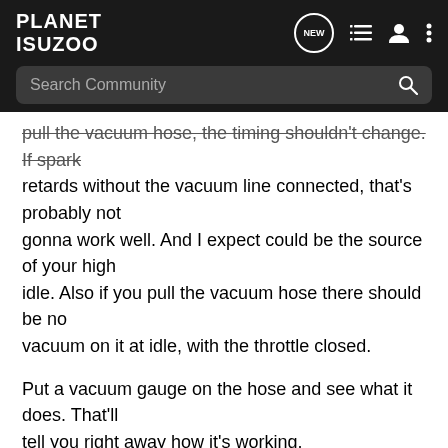PLANET ISUZOO
pull the vacuum hose, the timing shouldn't change. If spark retards without the vacuum line connected, that's probably not gonna work well. And I expect could be the source of your high idle. Also if you pull the vacuum hose there should be no vacuum on it at idle, with the throttle closed.

Put a vacuum gauge on the hose and see what it does. That'll tell you right away how it's working.
'90 3.4 Troop LS;
'89 Troop RS (Exhaust Valve Challenged), now gone to a Good
87_troopl1   Registered